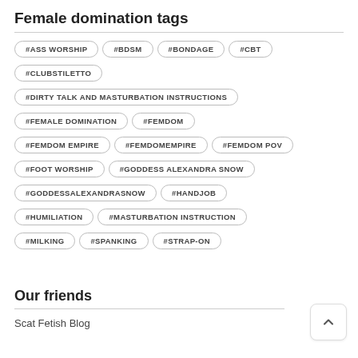Female domination tags
#ASS WORSHIP
#BDSM
#BONDAGE
#CBT
#CLUBSTILETTO
#DIRTY TALK AND MASTURBATION INSTRUCTIONS
#FEMALE DOMINATION
#FEMDOM
#FEMDOM EMPIRE
#FEMDOMEMPIRE
#FEMDOM POV
#FOOT WORSHIP
#GODDESS ALEXANDRA SNOW
#GODDESSALEXANDRASNOW
#HANDJOB
#HUMILIATION
#MASTURBATION INSTRUCTION
#MILKING
#SPANKING
#STRAP-ON
Our friends
Scat Fetish Blog